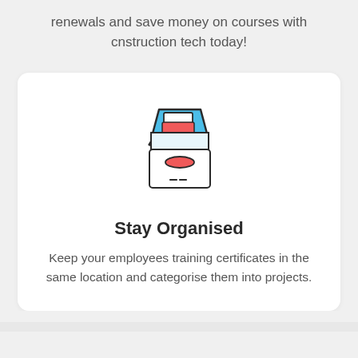renewals and save money on courses with cnstruction tech today!
[Figure (illustration): Icon of an office inbox/filing tray with documents stacked inside, coloured in blue, red/coral, and white with black outlines.]
Stay Organised
Keep your employees training certificates in the same location and categorise them into projects.